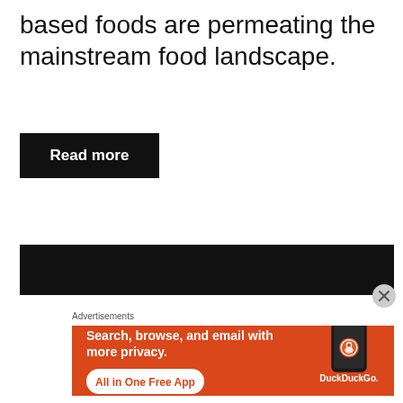based foods are permeating the mainstream food landscape.
Read more
[Figure (other): Black advertisement banner bar]
[Figure (other): DuckDuckGo advertisement banner with orange background. Text: Search, browse, and email with more privacy. All in One Free App. Shows DuckDuckGo logo and phone mockup.]